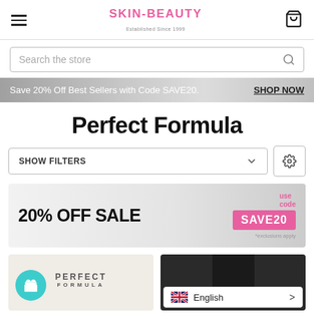SKIN-BEAUTY Established Since 1999
Search the store
Save 20% Off Best Sellers with Code SAVE20. SHOP NOW
Perfect Formula
SHOW FILTERS
[Figure (infographic): 20% OFF SALE banner with use code SAVE20 pink badge and *exclusions apply text]
[Figure (infographic): Two product cards side by side: left shows Perfect Formula brand logo on beige background with teal gift badge icon; right shows dark product on dark background, overlaid with English language selector widget showing UK flag]